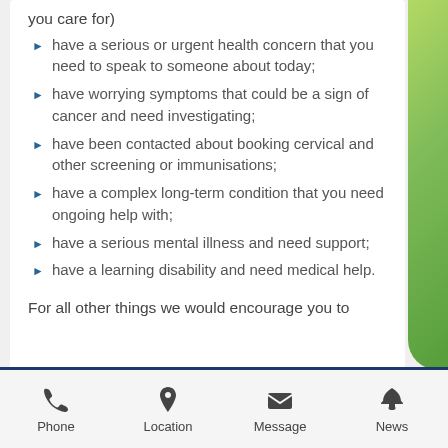you care for)
have a serious or urgent health concern that you need to speak to someone about today;
have worrying symptoms that could be a sign of cancer and need investigating;
have been contacted about booking cervical and other screening or immunisations;
have a complex long-term condition that you need ongoing help with;
have a serious mental illness and need support;
have a learning disability and need medical help.
For all other things we would encourage you to
Phone | Location | Message | News